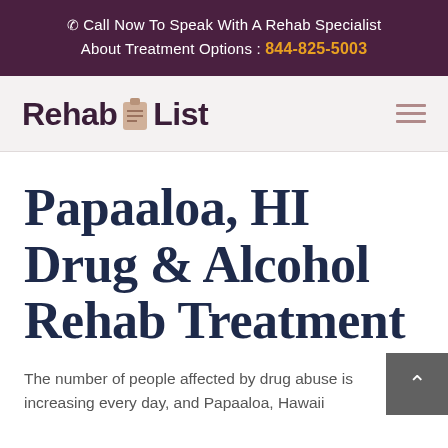Call Now To Speak With A Rehab Specialist About Treatment Options : 844-825-5003
[Figure (logo): Rehab List logo with clipboard icon]
Papaaloa, HI Drug & Alcohol Rehab Treatment
The number of people affected by drug abuse is increasing every day, and Papaaloa, Hawaii